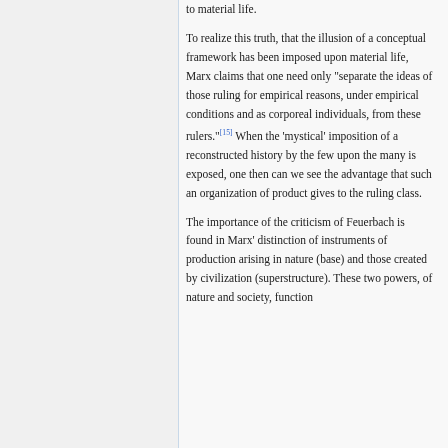to material life.
To realize this truth, that the illusion of a conceptual framework has been imposed upon material life, Marx claims that one need only "separate the ideas of those ruling for empirical reasons, under empirical conditions and as corporeal individuals, from these rulers."[15] When the 'mystical' imposition of a reconstructed history by the few upon the many is exposed, one then can we see the advantage that such an organization of product gives to the ruling class.
The importance of the criticism of Feuerbach is found in Marx' distinction of instruments of production arising in nature (base) and those created by civilization (superstructure). These two powers, of nature and society, function